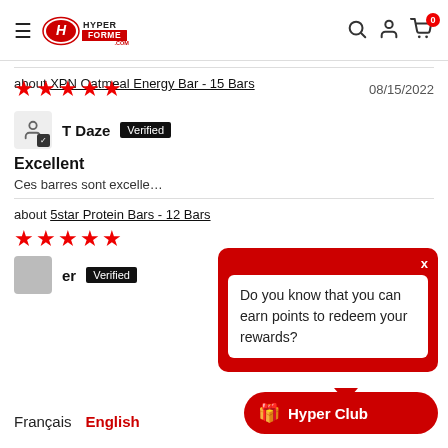[Figure (logo): Hyperforme.com logo with hamburger menu, search, account, and cart icons]
about XPN Oatmeal Energy Bar - 15 Bars
[Figure (other): 5 red stars rating]
08/15/2022
T Daze  Verified
Excellent
Ces barres sont excelle…
[Figure (other): Red popup overlay: Do you know that you can earn points to redeem your rewards?]
about 5star Protein Bars - 12 Bars
[Figure (other): 5 red stars rating]
er  Verified
Français  English